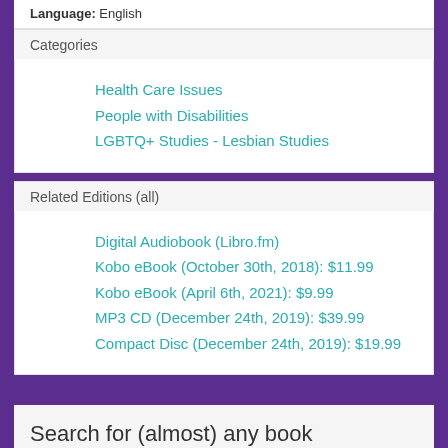Language: English
Categories
Health Care Issues
People with Disabilities
LGBTQ+ Studies - Lesbian Studies
Related Editions (all)
Digital Audiobook (Libro.fm)
Kobo eBook (October 30th, 2018): $11.99
Kobo eBook (April 6th, 2021): $9.99
MP3 CD (December 24th, 2019): $39.99
Compact Disc (December 24th, 2019): $19.99
Search for (almost) any book